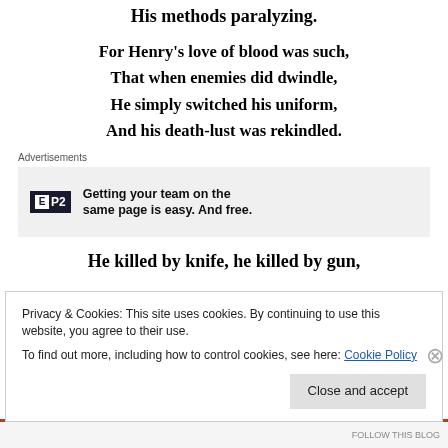His methods paralyzing.
For Henry's love of blood was such,
That when enemies did dwindle,
He simply switched his uniform,
And his death-lust was rekindled.
Advertisements
[Figure (other): Advertisement banner for P2 - Getting your team on the same page is easy. And free.]
He killed by knife, he killed by gun,
Privacy & Cookies: This site uses cookies. By continuing to use this website, you agree to their use.
To find out more, including how to control cookies, see here: Cookie Policy
Close and accept